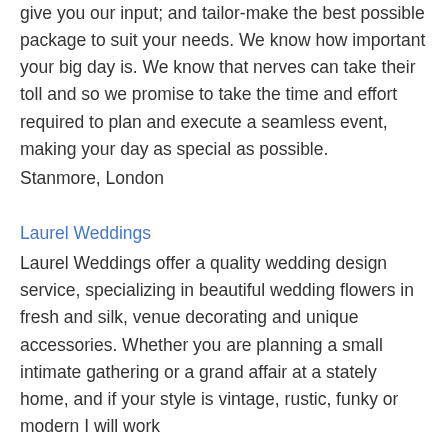give you our input; and tailor-make the best possible package to suit your needs. We know how important your big day is. We know that nerves can take their toll and so we promise to take the time and effort required to plan and execute a seamless event, making your day as special as possible.
Stanmore, London
Laurel Weddings
Laurel Weddings offer a quality wedding design service, specializing in beautiful wedding flowers in fresh and silk, venue decorating and unique accessories. Whether you are planning a small intimate gathering or a grand affair at a stately home, and if your style is vintage, rustic, funky or modern I will work